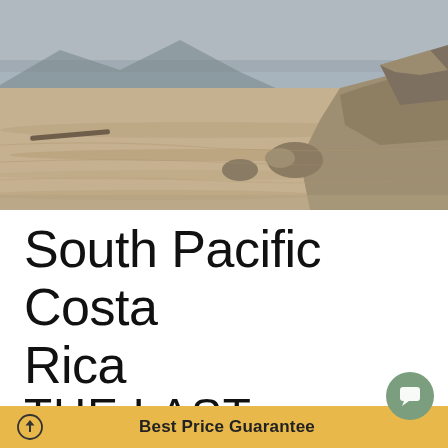[Figure (photo): Wide sandy beach with large rocky outcroppings on the right side, misty mountains in the background, overcast sky, driftwood scattered on the sand. Muted, desaturated tones of grey, tan, and brown.]
South Pacific Costa Rica
THE LAST
Best Price Guarantee